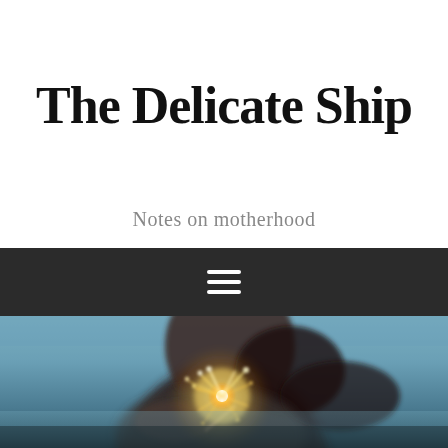The Delicate Ship
Notes on motherhood
[Figure (other): Dark navigation bar with hamburger menu icon (three horizontal white lines)]
[Figure (photo): A blurred photo of a woman holding a sparkler, with a blue-grey background. The sparkler emits bright golden-white sparks in the foreground. The woman's face is partially visible and blurred.]